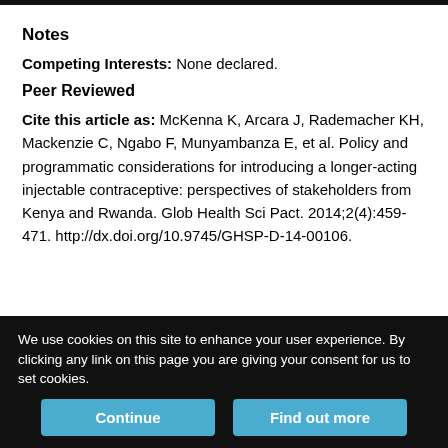Notes
Competing Interests: None declared.
Peer Reviewed
Cite this article as: McKenna K, Arcara J, Rademacher KH, Mackenzie C, Ngabo F, Munyambanza E, et al. Policy and programmatic considerations for introducing a longer-acting injectable contraceptive: perspectives of stakeholders from Kenya and Rwanda. Glob Health Sci Pact. 2014;2(4):459-471. http://dx.doi.org/10.9745/GHSP-D-14-00106.
We use cookies on this site to enhance your user experience. By clicking any link on this page you are giving your consent for us to set cookies.